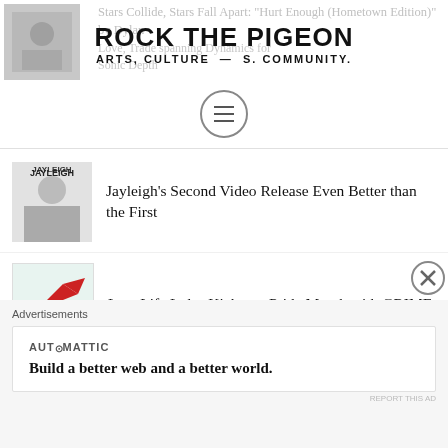[Figure (screenshot): Faded background article text partially visible behind logo: 'Stars Collide, Stars Fall Apart: "Hurt Enough (Hometown Edition)" by Dylan' and partial subtitle about 'Love, Trade spanning Dynamics for Sonic Depth']
ROCK THE PIGEON
ARTS, CULTURE, MUSIC, COMMUNITY.
Jayleigh's Second Video Release Even Better than the First
Low Life Lolas Kickstart Pride Month with GRIME
Alistair Pope On Love, Loss & Overcoming (Exclusive Interview)
Advertisements
AUTOMATTIC
Build a better web and a better world.